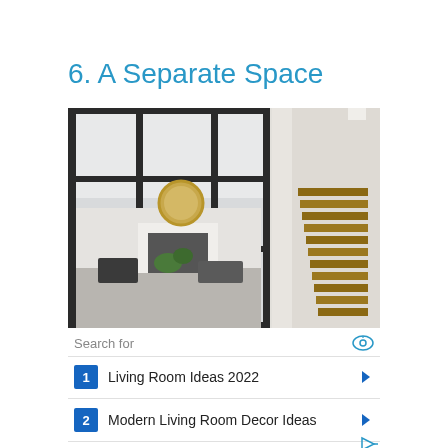6. A Separate Space
[Figure (photo): Interior photo showing a living room separated by large black-framed glass partition walls, with a gold circular mirror above a white fireplace, dark chairs, and a wooden staircase visible on the right side.]
Search for
1  Living Room Ideas 2022
2  Modern Living Room Decor Ideas